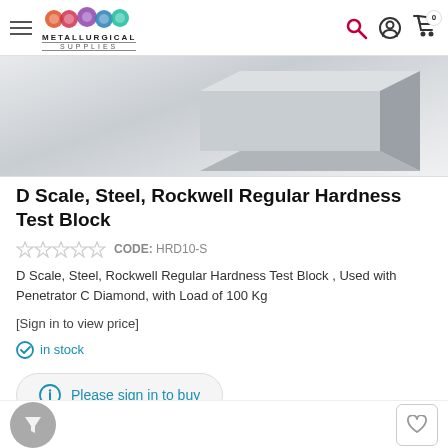Metallurgical Supplies
[Figure (photo): Product photo of a gray steel hardness test block, rectangular slab shape on white/gray gradient background]
D Scale, Steel, Rockwell Regular Hardness Test Block
CODE: HRD10-S
D Scale, Steel, Rockwell Regular Hardness Test Block , Used with Penetrator C Diamond, with Load of 100 Kg
[Sign in to view price]
in stock
Please sign in to buy